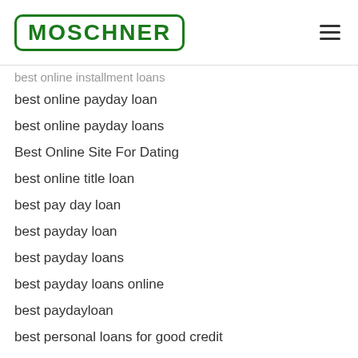MOSCHNER
best online installment loans
best online payday loan
best online payday loans
Best Online Site For Dating
best online title loan
best pay day loan
best payday loan
best payday loans
best payday loans online
best paydayloan
best personal loans for good credit
Best Rated Dating Websites
Best Rated Online Dating Sites